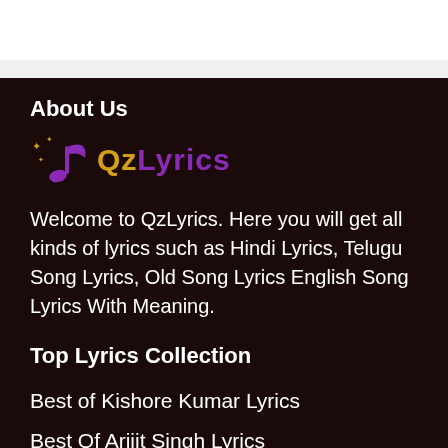About Us
[Figure (logo): QzLyrics logo with music note icon and sparkles, text 'QzLyrics' in orange and purple]
Welcome to QzLyrics. Here you will get all kinds of lyrics such as Hindi Lyrics, Telugu Song Lyrics, Old Song Lyrics English Song Lyrics With Meaning.
Top Lyrics Collection
Best of Kishore Kumar Lyrics
Best Of Arijit Singh Lyrics